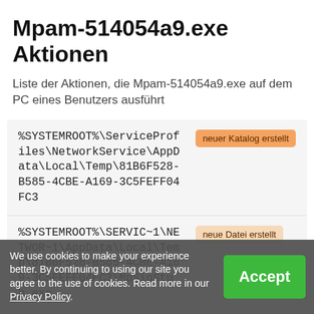Mpam-514054a9.exe Aktionen
Liste der Aktionen, die Mpam-514054a9.exe auf dem PC eines Benutzers ausführt
| Path | Action |
| --- | --- |
| %SYSTEMROOT%\ServiceProfiles\NetworkService\AppData\Local\Temp\81B6F528-B585-4CBE-A169-3C5FEFF04FC3 | neuer Katalog erstellt |
| %SYSTEMROOT%\SERVIC~1\NETWOR~1\AppData\Local\Temp\81B6F528-B585-4CBE-A169-3C5FEFF04FC3\MpSigStub.exe | neue Datei erstellt |
We use cookies to make your experience better. By continuing to using our site you agree to the use of cookies. Read more in our Privacy Policy.